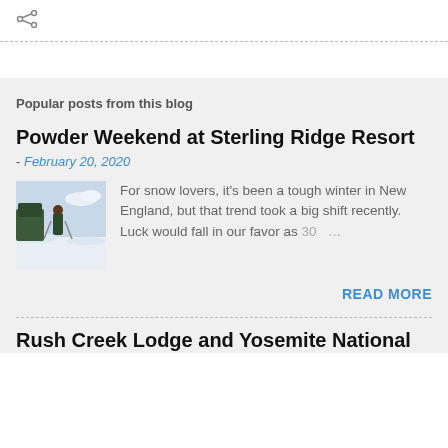[Figure (other): Share icon (less-than-style arrow icon in gray)]
Popular posts from this blog
Powder Weekend at Sterling Ridge Resort
- February 20, 2020
[Figure (photo): A person in winter outdoor gear standing in snow with ski poles, with snowy landscape and trees in background]
For snow lovers, it's been a tough winter in New England, but that trend took a big shift recently. Luck would fall in our favor as 30 …
READ MORE
Rush Creek Lodge and Yosemite National